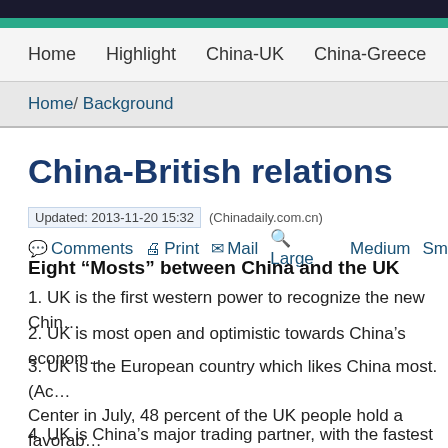Home  Highlight  China-UK  China-Greece  Opinion
Home/ Background
China-British relations
Updated: 2013-11-20 15:32   (Chinadaily.com.cn)
Comments  Print  Mail  Large  Medium  Sm
Eight “Mosts” between China and the UK
1. UK is the first western power to recognize the new Chin…
2. UK is most open and optimistic towards China’s econom…
3. UK is the European country which likes China most. (Ac… Center in July, 48 percent of the UK people hold a favorab… rate among the European countries)
4. UK is China’s major trading partner, with the fastest gro… past six years, trade volume between the two has doubl…